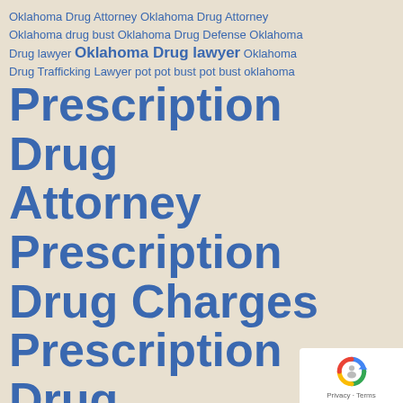Oklahoma Drug Attorney Oklahoma Drug Attorney Oklahoma drug bust Oklahoma Drug Defense Oklahoma Drug lawyer Oklahoma Drug lawyer Oklahoma Drug Trafficking Lawyer pot pot bust pot bust oklahoma Prescription Drug Attorney Prescription Drug Charges Prescription Drug Charges Lawyer Prescription Drug Lawyer Prescription Drugs Attorney Prescription Drugs
[Figure (logo): Google reCAPTCHA badge with Privacy and Terms links]